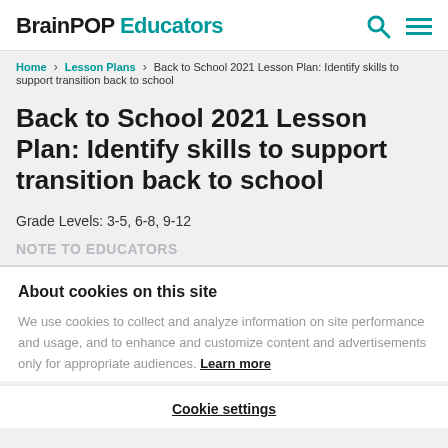BrainPOP Educators
Home > Lesson Plans > Back to School 2021 Lesson Plan: Identify skills to support transition back to school
Back to School 2021 Lesson Plan: Identify skills to support transition back to school
Grade Levels: 3-5, 6-8, 9-12
NOTE TO EDUCATORS
About cookies on this site
We use cookies to collect and analyze information on site performance and usage, and to enhance and customize content and advertisements only for appropriate audiences. Learn more
Cookie settings